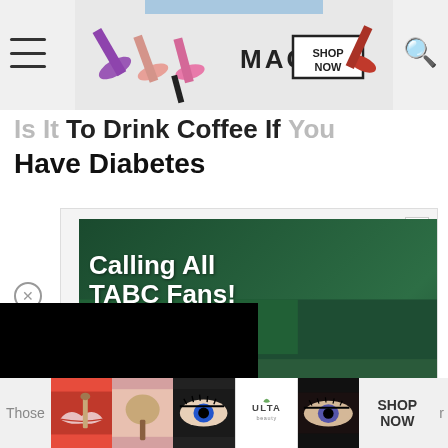[Figure (photo): MAC cosmetics advertisement banner with lipsticks, SHOP NOW button]
Is It Okay To Drink Coffee If You Have Diabetes
[Figure (photo): TABC advertisement overlay with 'Calling All TABC Fans!' text promoting writing workshops and Boot Camp 24/7, with Learn More button and TABC Classroom Edition logo. Overlaid with black video rectangle and close button.]
[Figure (photo): ULTA Beauty advertisement strip at the bottom with makeup product images and SHOP NOW button]
Those